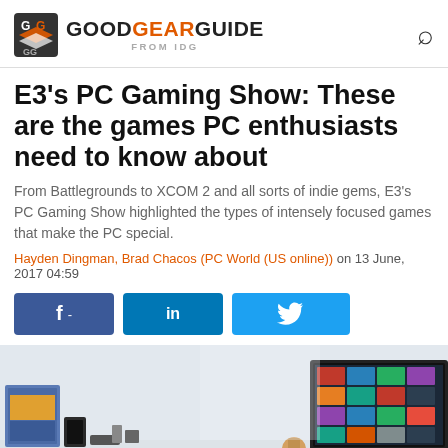GOOD GEAR GUIDE FROM IDG
E3’s PC Gaming Show: These are the games PC enthusiasts need to know about
From Battlegrounds to XCOM 2 and all sorts of indie gems, E3’s PC Gaming Show highlighted the types of intensely focused games that make the PC special.
Hayden Dingman, Brad Chacos (PC World (US online)) on 13 June, 2017 04:59
[Figure (screenshot): Social share buttons: Facebook, LinkedIn, Twitter]
[Figure (photo): Photo of a monitor/laptop displaying a Steam game library, with gaming accessories on a shelf in the background]